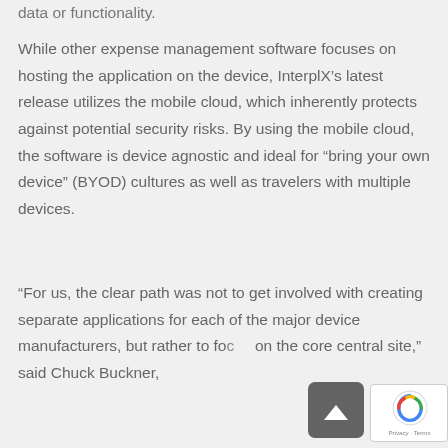data or functionality.
While other expense management software focuses on hosting the application on the device, InterplX's latest release utilizes the mobile cloud, which inherently protects against potential security risks. By using the mobile cloud, the software is device agnostic and ideal for “bring your own device” (BYOD) cultures as well as travelers with multiple devices.
“For us, the clear path was not to get involved with creating separate applications for each of the major device manufacturers, but rather to focus on the core central site,” said Chuck Buckner,